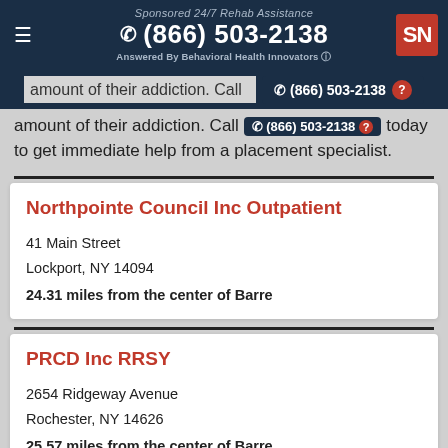Sponsored 24/7 Rehab Assistance
☎ (866) 503-2138
Answered By Behavioral Health Innovators
amount of their addiction. Call  ☎ (866) 503-2138  today to get immediate help from a placement specialist.
Northpointe Council Inc Outpatient
41 Main Street
Lockport, NY 14094
24.31 miles from the center of Barre
PRCD Inc RRSY
2654 Ridgeway Avenue
Rochester, NY 14626
25.57 miles from the center of Barre